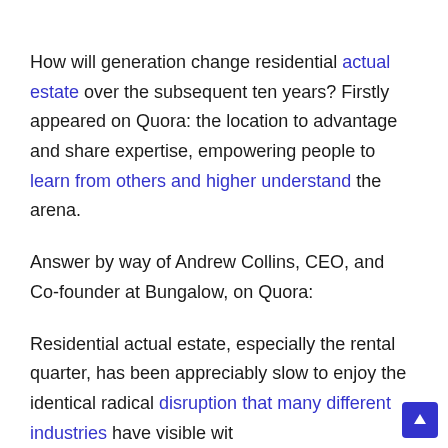How will generation change residential actual estate over the subsequent ten years? Firstly appeared on Quora: the location to advantage and share expertise, empowering people to learn from others and higher understand the arena.
Answer by way of Andrew Collins, CEO, and Co-founder at Bungalow, on Quora:
Residential actual estate, especially the rental quarter, has been appreciably slow to enjoy the identical radical disruption that many different industries have visible wit